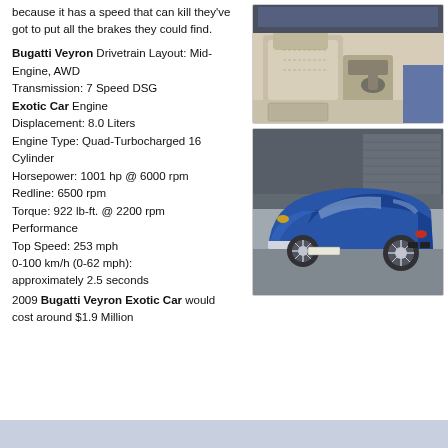because it has a speed that can kill they've got to put all the brakes they could find.
[Figure (photo): Interior photo of a Bugatti Veyron showing white leather seats and dashboard]
Bugatti Veyron Drivetrain Layout: Mid-Engine, AWD Transmission: 7 Speed DSG Exotic Car Engine Displacement: 8.0 Liters Engine Type: Quad-Turbocharged 16 Cylinder Horsepower: 1001 hp @ 6000 rpm Redline: 6500 rpm Torque: 922 lb-ft. @ 2200 rpm Performance Top Speed: 253 mph 0-100 km/h (0-62 mph): approximately 2.5 seconds
[Figure (photo): Exterior photo of a blue Bugatti Veyron Exotic Car parked outside a building]
2009 Bugatti Veyron Exotic Car would cost around $1.9 Million